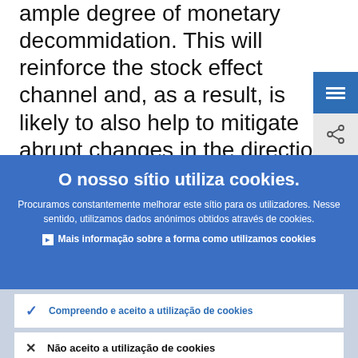ample degree of monetary decommidation. This will reinforce the stock effect channel and, as a result, is likely to also help to mitigate abrupt changes in the direction o capital fl...
[Figure (screenshot): Blue menu hamburger button (three horizontal lines) on dark blue background, top right corner]
[Figure (screenshot): Share icon button on light grey background, below the hamburger menu]
O nosso sítio utiliza cookies.
Procuramos constantemente melhorar este sítio para os utilizadores. Nesse sentido, utilizamos dados anónimos obtidos através de cookies.
Mais informação sobre a forma como utilizamos cookies
Compreendo e aceito a utilização de cookies
Não aceito a utilização de cookies